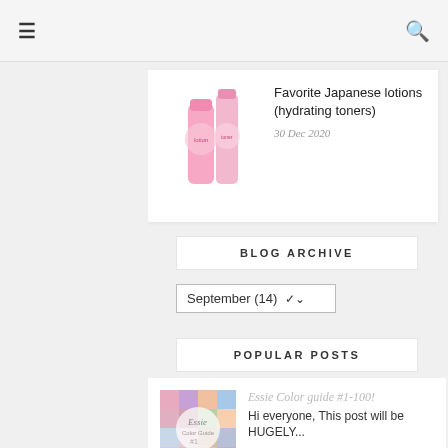☰  🔍
[Figure (photo): Pink Japanese lotion/toner bottles]
Favorite Japanese lotions (hydrating toners)
30 Dec 2020
BLOG ARCHIVE
September (14) ▾
POPULAR POSTS
[Figure (photo): Essie Color guide nail polish collage thumbnail]
Essie Color guide #1-100!
Hi everyone, This post will be HUGELY...